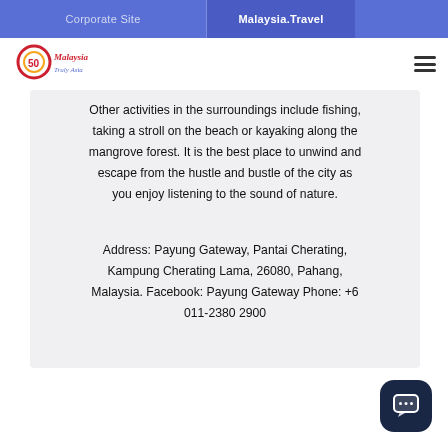Corporate Site  |  Malaysia.Travel
[Figure (logo): Malaysia Tourism logo with '50' anniversary mark and stylized Malaysia text]
Other activities in the surroundings include fishing, taking a stroll on the beach or kayaking along the mangrove forest. It is the best place to unwind and escape from the hustle and bustle of the city as you enjoy listening to the sound of nature.
Address: Payung Gateway, Pantai Cherating, Kampung Cherating Lama, 26080, Pahang, Malaysia. Facebook: Payung Gateway Phone: +6 011-2380 2900